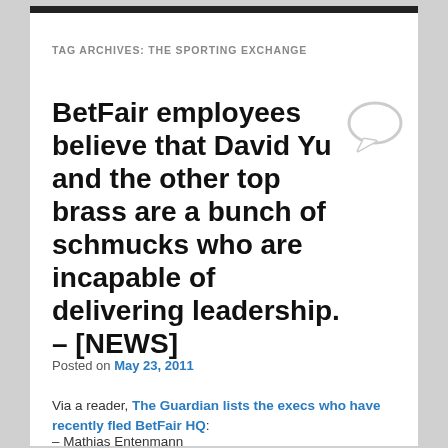TAG ARCHIVES: THE SPORTING EXCHANGE
BetFair employees believe that David Yu and the other top brass are a bunch of schmucks who are incapable of delivering leadership. – [NEWS]
Posted on May 23, 2011
Via a reader, The Guardian lists the execs who have recently fled BetFair HQ:
– Mathias Entenmann